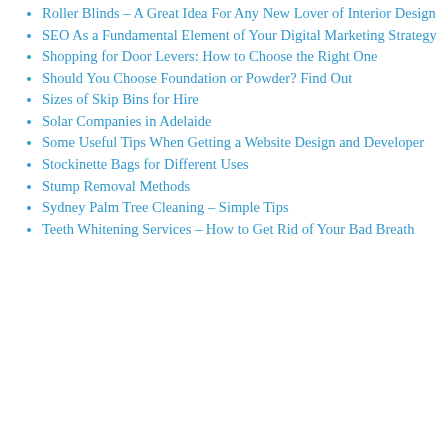Roller Blinds – A Great Idea For Any New Lover of Interior Design
SEO As a Fundamental Element of Your Digital Marketing Strategy
Shopping for Door Levers: How to Choose the Right One
Should You Choose Foundation or Powder? Find Out
Sizes of Skip Bins for Hire
Solar Companies in Adelaide
Some Useful Tips When Getting a Website Design and Developer
Stockinette Bags for Different Uses
Stump Removal Methods
Sydney Palm Tree Cleaning – Simple Tips
Teeth Whitening Services – How to Get Rid of Your Bad Breath